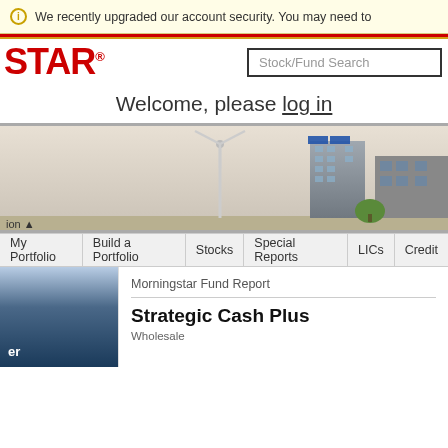We recently upgraded our account security. You may need to
[Figure (screenshot): Morningstar website header with logo, search box, welcome message, hero banner with wind turbines and city buildings, navigation bar, and fund report section for Strategic Cash Plus fund]
Welcome, please log in
My Portfolio | Build a Portfolio | Stocks | Special Reports | LICs | Credit
Morningstar Fund Report
Strategic Cash Plus
Wholesale